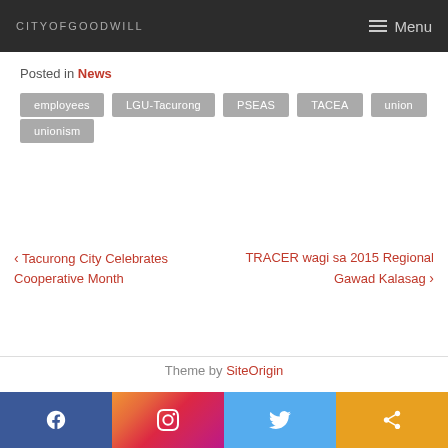CITYOFGOODWILL | Menu
Posted in News
employees
LGU-Tacurong
PSEAS
TACEA
union
unionism
< Tacurong City Celebrates Cooperative Month
TRACER wagi sa 2015 Regional Gawad Kalasag >
Theme by SiteOrigin